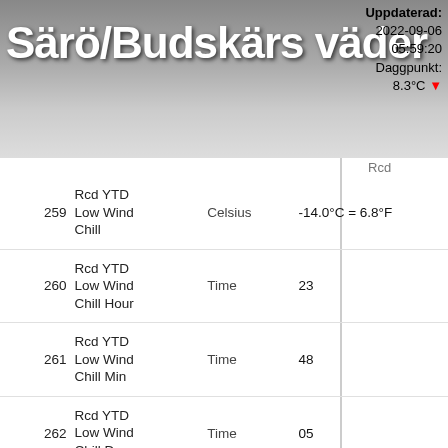Särö/Budskärs väder — Uppdaterad: 2022-09-06 05:59:20 Daggpunkt: 8.3°C
| # | Description | Unit | Value |
| --- | --- | --- | --- |
| 259 | Rcd YTD Low Wind Chill | Celsius | -14.0°C = 6.8°F |
| 260 | Rcd YTD Low Wind Chill Hour | Time | 23 |
| 261 | Rcd YTD Low Wind Chill Min | Time | 48 |
| 262 | Rcd YTD Low Wind Chill Day | Time | 05 |
| 263 | Rcd YTD Low Wind Chill Month | Time | 04 |
| 264 | Rcd YTD Low Wind Chill Year | Time | 2022 |
|  | Rcd YTD |  |  |